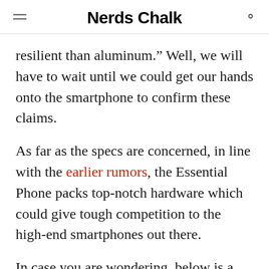Nerds Chalk
resilient than aluminum.” Well, we will have to wait until we could get our hands onto the smartphone to confirm these claims.
As far as the specs are concerned, in line with the earlier rumors, the Essential Phone packs top-notch hardware which could give tough competition to the high-end smartphones out there.
In case you are wondering, below is a list of all the specs of the Essential Phone.